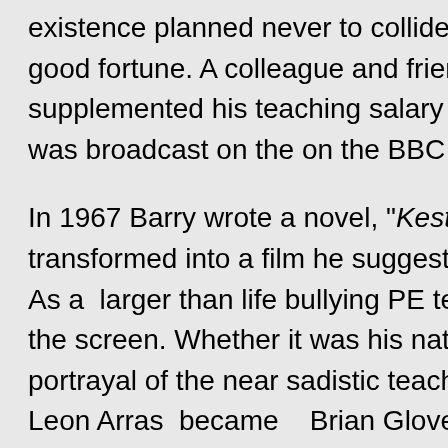existence planned never to collide. That all changed wh good fortune. A colleague and friend of Brian's at Long supplemented his teaching salary by writing novels. Hi was broadcast on the on the BBC Third Programme in
In 1967 Barry wrote a novel, "Kestrel for a Knave," ab transformed into a film he suggested that his teaching As a larger than life bullying PE teacher, not a million the screen. Whether it was his natural charisma, or a d portrayal of the near sadistic teacher was an overwhe Leon Arras became   Brian Glover the television and fil
He was soon in demand and performed regularly in te wrestling career, which had now lasted twenty years, be